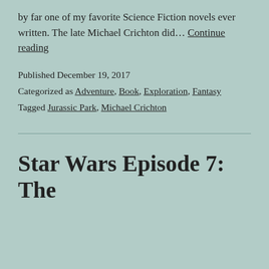by far one of my favorite Science Fiction novels ever written. The late Michael Crichton did… Continue reading
Published December 19, 2017
Categorized as Adventure, Book, Exploration, Fantasy
Tagged Jurassic Park, Michael Crichton
Star Wars Episode 7: The